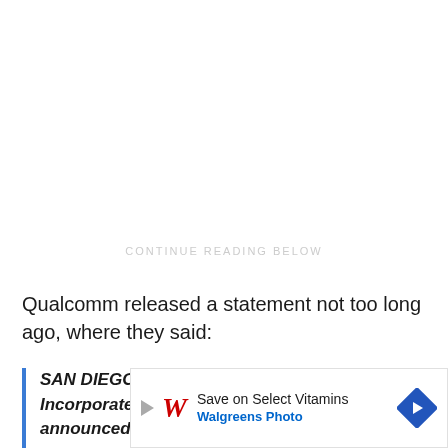CONTINUE READING BELOW
Qualcomm released a statement not too long ago, where they said:
SAN DIEGO - August 8, 2017 - Qualcomm Incorporated (Nasdaq: QCOM) today announced that the United States com
[Figure (other): Walgreens Photo advertisement overlay: Save on Select Vitamins, Walgreens Photo, with blue diamond navigation icon]